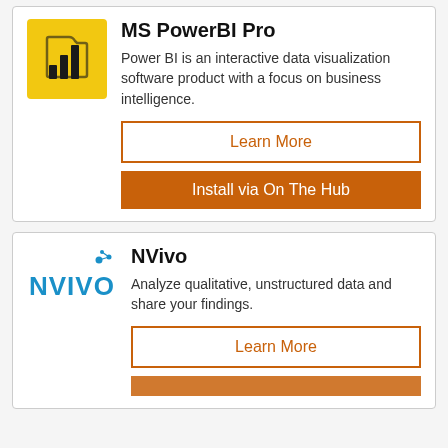MS PowerBI Pro
Power BI is an interactive data visualization software product with a focus on business intelligence.
Learn More
Install via On The Hub
NVivo
Analyze qualitative, unstructured data and share your findings.
Learn More